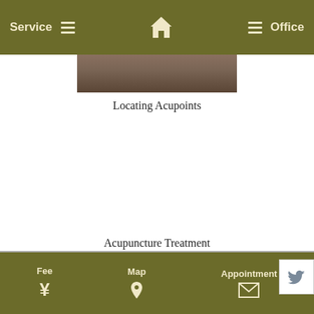Service  ⌂  Office
[Figure (photo): Partial photo of a person, cropped at top, showing upper body area related to acupuncture treatment]
Locating Acupoints
Acupuncture Treatment
Before the actual acupuncture treatment, we will identify the causes and acupoints to be used.
Fee  ¥  Map  ⦿  Appointment  ✉